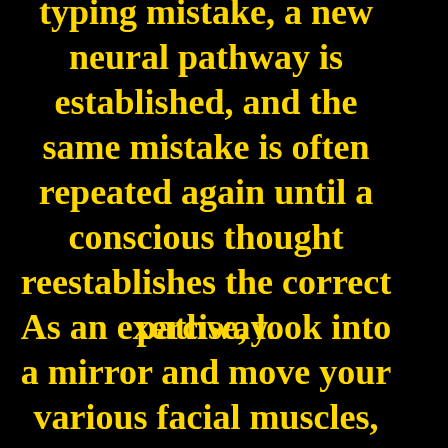typing mistake, a new neural pathway is established, and the same mistake is often repeated again until a conscious thought reestablishes the correct pathway.
As an exercise, look into a mirror and move your various facial muscles, scalp muscles, eyebrows, eyes,